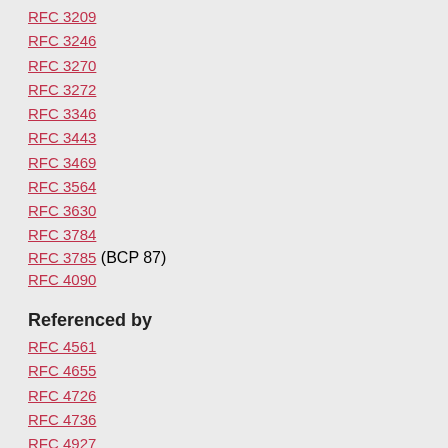RFC 3209
RFC 3246
RFC 3270
RFC 3272
RFC 3346
RFC 3443
RFC 3469
RFC 3564
RFC 3630
RFC 3784
RFC 3785 (BCP 87)
RFC 4090
Referenced by
RFC 4561
RFC 4655
RFC 4726
RFC 4736
RFC 4927
RFC 5151
RFC 5152
RFC 5298